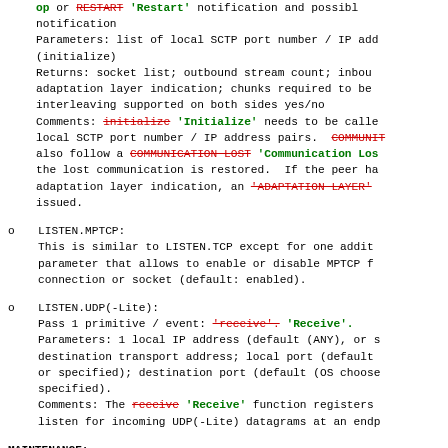op or RESTART 'Restart' notification and possi notification
Parameters: list of local SCTP port number / IP add (initialize)
Returns: socket list; outbound stream count; inbou adaptation layer indication; chunks required to be interleaving supported on both sides yes/no
Comments: initialize 'Initialize' needs to be call local SCTP port number / IP address pairs. COMMUN also follow a COMMUNICATION LOST 'Communication Lo the lost communication is restored. If the peer h adaptation layer indication, an 'ADAPTATION LAYER' issued.
o  LISTEN.MPTCP:
This is similar to LISTEN.TCP except for one addit parameter that allows to enable or disable MPTCP f connection or socket (default: enabled).
o  LISTEN.UDP(-Lite):
Pass 1 primitive / event: 'receive'. 'Receive'.
Parameters: 1 local IP address (default (ANY), or s destination transport address; local port (default or specified); destination port (default (OS choos specified).
Comments: The receive 'Receive' function registers listen for incoming UDP(-Lite) datagrams at an end
MAINTENANCE:
Adjustments made to an open connection, or notificatio These are out of band messages to the protocol that o